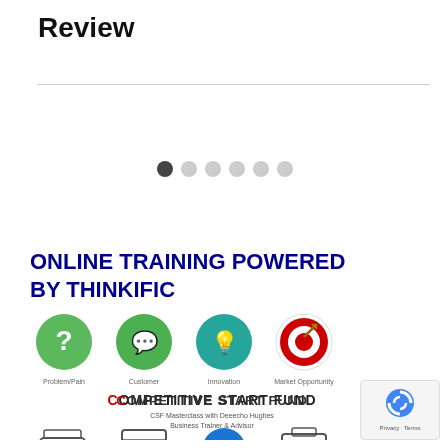Review
[Figure (infographic): Carousel navigation dots: one filled dark dot and five light gray dots indicating a carousel slider position]
ONLINE TRAINING POWERED BY THINKIFIC
[Figure (infographic): Row of four circular icon buttons: green question mark (Problem/Pain), green WeChat-style icon (Customer), teal lightbulb (Innovation), red target/dart (Market Opportunity), above a Competitive Start Fund logo with text 'CSF Masterclass with Deeecho Hughes, Business Trainer & Advisor']
[Figure (infographic): Second row of four icons partially visible at bottom: Business Model, Milestones, a blue circular icon, and another icon]